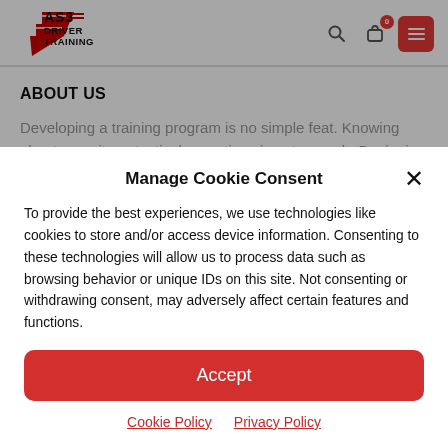[Figure (logo): AS3 Driver Training logo with red stylized graphic and black text]
ABOUT US
Developing a training program is no simple feat. Knowing about security or tactical operations is not enough. Designing a great
Manage Cookie Consent
To provide the best experiences, we use technologies like cookies to store and/or access device information. Consenting to these technologies will allow us to process data such as browsing behavior or unique IDs on this site. Not consenting or withdrawing consent, may adversely affect certain features and functions.
Accept
Cookie Policy  Privacy Policy